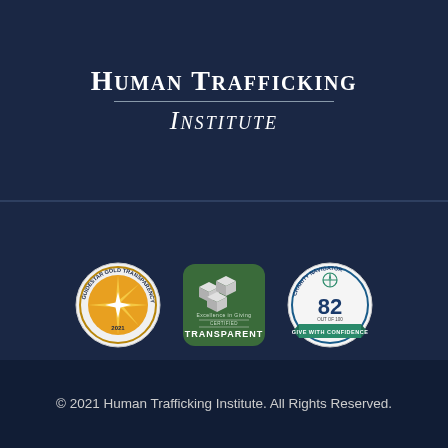Human Trafficking Institute
[Figure (logo): GuideStar Gold Transparency 2021 seal — circular badge with gold star burst on orange/gold background]
[Figure (logo): Excellence in Giving Certified Transparent badge — green rounded square with white cube icons and text TRANSPARENT]
[Figure (logo): Charity Navigator badge — circular with score 82 out of 100, Give With Confidence ribbon, compass rose icon]
© 2021 Human Trafficking Institute. All Rights Reserved.